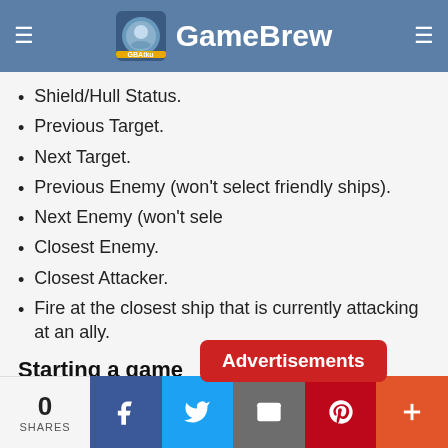GameBrew
Shield/Hull Status.
Previous Target.
Next Target.
Previous Enemy (won't select friendly ships).
Next Enemy (won't select friendly ships).
Closest Enemy.
Closest Attacker.
Fire at the closest ship that is currently attacking at an ally.
Starting a game
Follow the on screen instructions until you get to the mission setup screen.
0 SHARES